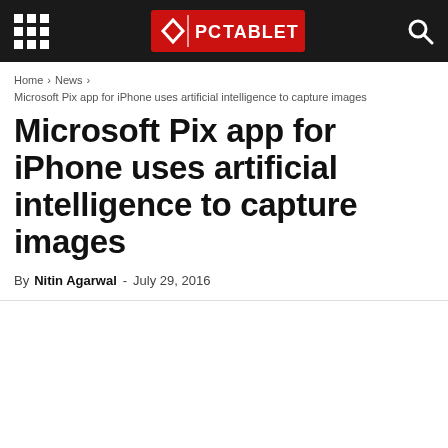PC TABLET
Home › News › Microsoft Pix app for iPhone uses artificial intelligence to capture images
Microsoft Pix app for iPhone uses artificial intelligence to capture images
By Nitin Agarwal - July 29, 2016